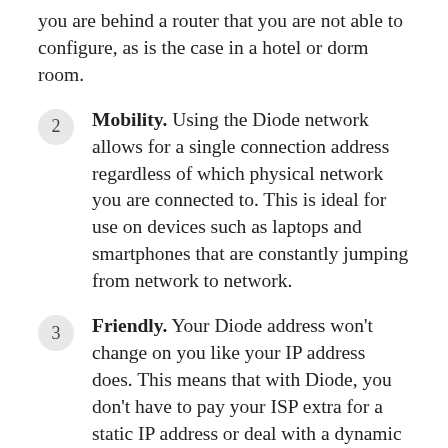you are behind a router that you are not able to configure, as is the case in a hotel or dorm room.
Mobility. Using the Diode network allows for a single connection address regardless of which physical network you are connected to. This is ideal for use on devices such as laptops and smartphones that are constantly jumping from network to network.
Friendly. Your Diode address won't change on you like your IP address does. This means that with Diode, you don't have to pay your ISP extra for a static IP address or deal with a dynamic DNS service. Your Diode address stays consistent out-of-the-box. Additionally, an easy-to-remember BNS